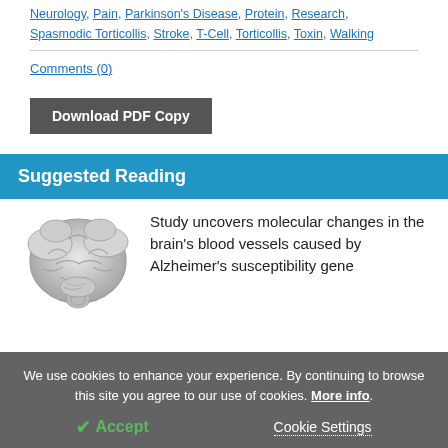Neurology, Pain, Parkinson's Disease, Protein, Research, Spasmodic Torticollis, Stroke, T-Cell, Torticollis, Toxin, Walking
Comments (0)
Download PDF Copy
Suggested Reading
[Figure (photo): 3D illustration of a human brain, white/grey shading]
Study uncovers molecular changes in the brain's blood vessels caused by Alzheimer's susceptibility gene
We use cookies to enhance your experience. By continuing to browse this site you agree to our use of cookies. More info.
✔ Accept
Cookie Settings